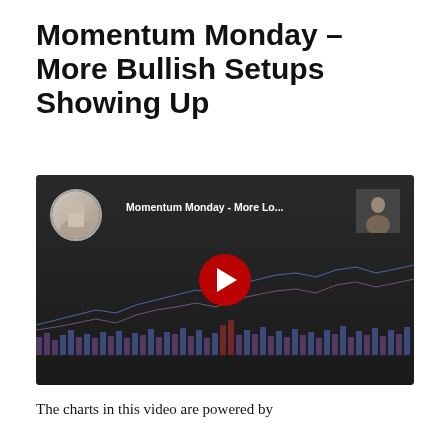Momentum Monday – More Bullish Setups Showing Up
[Figure (screenshot): YouTube video thumbnail/embed showing 'Momentum Monday - More Lo...' with a stock chart, trading platform data, a presenter avatar circle at top-left, a person at top-right, and a large red YouTube play button in the center.]
The charts in this video are powered by